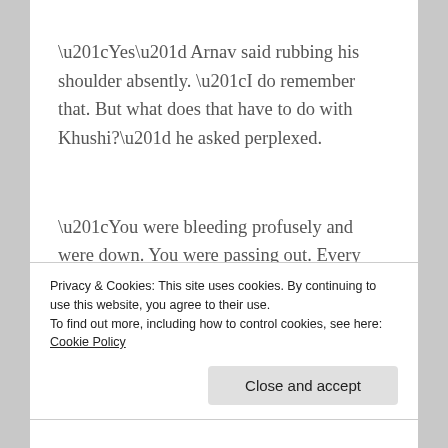“Yes” Arnav said rubbing his shoulder absently. “I do remember that. But what does that have to do with Khushi?” he asked perplexed.
“You were bleeding profusely and were down. You were passing out. Every time you came to, you would say that name, over and over. Khushi! Khushi Gupta!. No one knew who that was.” Maya looked
Privacy & Cookies: This site uses cookies. By continuing to use this website, you agree to their use.
To find out more, including how to control cookies, see here: Cookie Policy